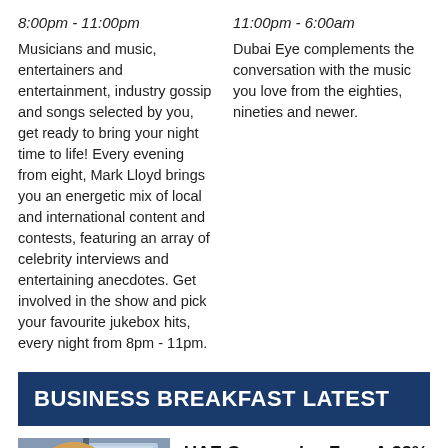8:00pm - 11:00pm
Musicians and music, entertainers and entertainment, industry gossip and songs selected by you, get ready to bring your night time to life! Every evening from eight, Mark Lloyd brings you an energetic mix of local and international content and contests, featuring an array of celebrity interviews and entertaining anecdotes. Get involved in the show and pick your favourite jukebox hits, every night from 8pm - 11pm.
11:00pm - 6:00am
Dubai Eye complements the conversation with the music you love from the eighties, nineties and newer.
BUSINESS BREAKFAST LATEST
[Figure (photo): Photo of a blonde woman in a studio setting]
UAE Companies Face A 38% Jump In Claims For Petrol E...